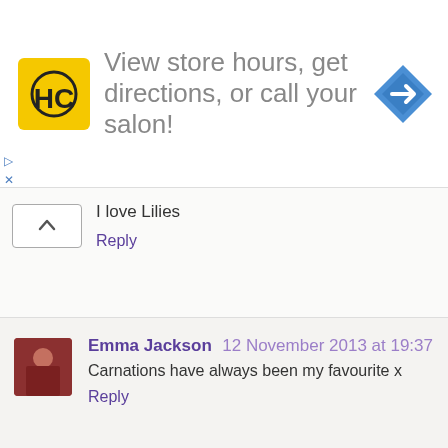[Figure (infographic): Advertisement banner: HC logo (yellow square with black HC letters), text 'View store hours, get directions, or call your salon!', blue diamond direction arrow icon. Small play and close controls on left side.]
I love Lilies
Reply
Emma Jackson 12 November 2013 at 19:37
Carnations have always been my favourite x
Reply
Bextow 12 November 2013 at 19:39
Sweet Williams
Reply
Anonymous 12 November 2013 at 19:42